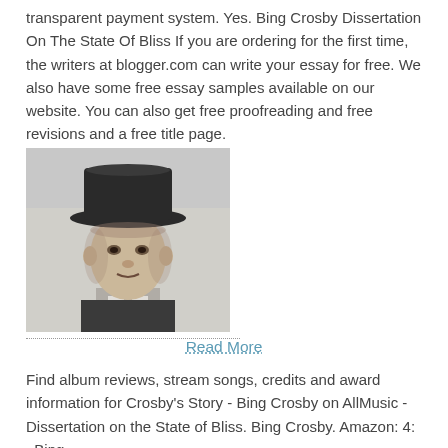transparent payment system. Yes. Bing Crosby Dissertation On The State Of Bliss If you are ordering for the first time, the writers at blogger.com can write your essay for free. We also have some free essay samples available on our website. You can also get free proofreading and free revisions and a free title page.
[Figure (photo): Black and white portrait photo of Bing Crosby wearing a dark top hat and suit]
Read More
Find album reviews, stream songs, credits and award information for Crosby's Story - Bing Crosby on AllMusic - Dissertation on the State of Bliss. Bing Crosby. Amazon: 4: . Bing